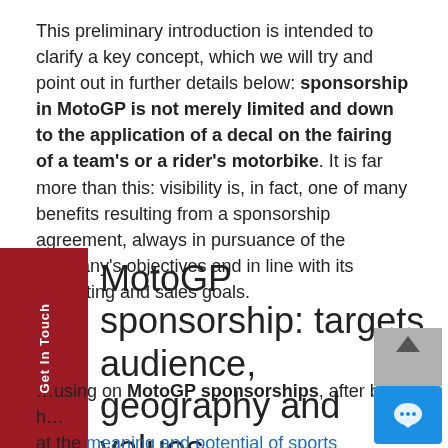This preliminary introduction is intended to clarify a key concept, which we will try and point out in further details below: sponsorship in MotoGP is not merely limited and down to the application of a decal on the fairing of a team's or a rider's motorbike. It is far more than this: visibility is, in fact, one of many benefits resulting from a sponsorship agreement, always in pursuance of the company's objectives and in line with its marketing and sales goals.
MotoGP sponsorship: targets, audience, geography and values
focusing on MotoGP sponsorships, after briefly h... at the meaning and potential of sports sponsorships,